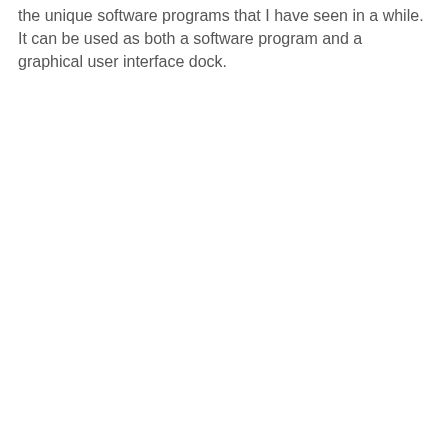the unique software programs that I have seen in a while. It can be used as both a software program and a graphical user interface dock.